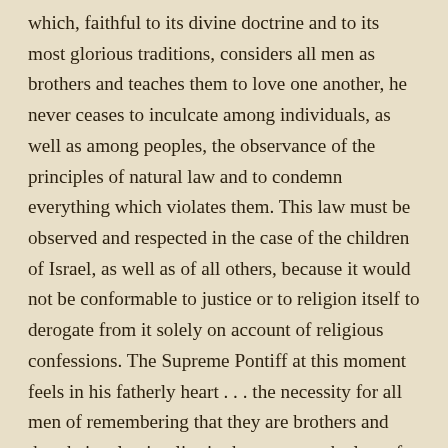which, faithful to its divine doctrine and to its most glorious traditions, considers all men as brothers and teaches them to love one another, he never ceases to inculcate among individuals, as well as among peoples, the observance of the principles of natural law and to condemn everything which violates them. This law must be observed and respected in the case of the children of Israel, as well as of all others, because it would not be conformable to justice or to religion itself to derogate from it solely on account of religious confessions. The Supreme Pontiff at this moment feels in his fatherly heart . . . the necessity for all men of remembering that they are brothers and that their salvation lies in the return to the law of love which is the law of the gospel. This response was published in the New York Times on April 17, 1916 under the headline: “Papal Bull Urges Equality for Jews.” It also appeared in Civiltà Cattolica on April 28 of that year, and in the London Tablet on April 29. Goldhagen, of